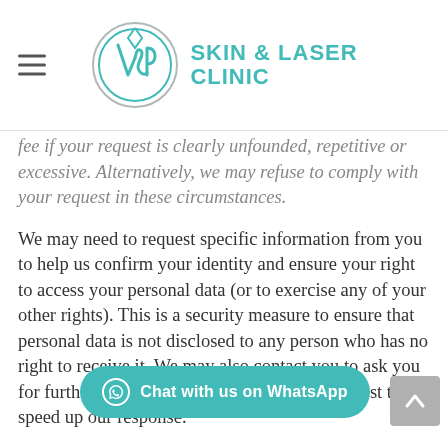VSP Skin & Laser Clinic
fee if your request is clearly unfounded, repetitive or excessive. Alternatively, we may refuse to comply with your request in these circumstances.
We may need to request specific information from you to help us confirm your identity and ensure your right to access your personal data (or to exercise any of your other rights). This is a security measure to ensure that personal data is not disclosed to any person who has no right to receive it. We may also contact you to ask you for further information in relation to your request to speed up our response.
We try to respond to all legitimate requests within one month. Occasionally it may take us
[Figure (other): Chat with us on WhatsApp button overlay at bottom of page]